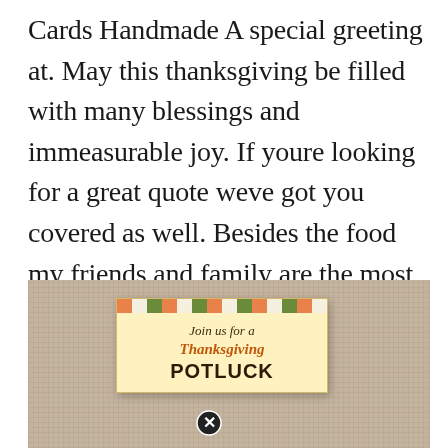Cards Handmade A special greeting at. May this thanksgiving be filled with many blessings and immeasurable joy. If youre looking for a great quote weve got you covered as well. Besides the food my friends and family are the most important part of a great Thanksgiving. May all my friends and family have a happy Thanksgiving holiday.
[Figure (illustration): A Thanksgiving potluck invitation card placed on a burlap textured background. The card has a colorful striped border at the top in orange, green, and cream. The card text reads 'Join us for a Thanksgiving POTLUCK' in decorative fonts. A circular close/dismiss button (X icon) is overlaid at the bottom center of the card.]